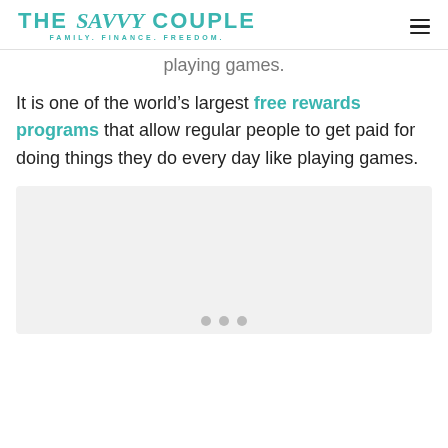THE Savvy COUPLE — FAMILY. FINANCE. FREEDOM.
playing games.
It is one of the world's largest free rewards programs that allow regular people to get paid for doing things they do every day like playing games.
[Figure (other): Image placeholder with slider dots at the bottom, showing a light grey rectangular area with three circle dot indicators.]